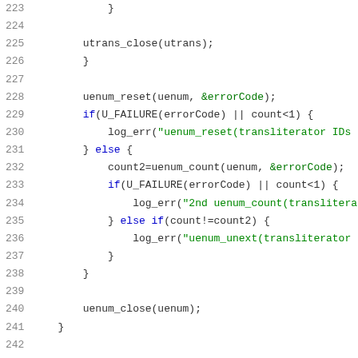[Figure (screenshot): Source code listing in C showing lines 223-244, with line numbers in gray on the left and syntax-highlighted code on the right. Keywords and identifiers appear in dark/blue, string literals in green.]